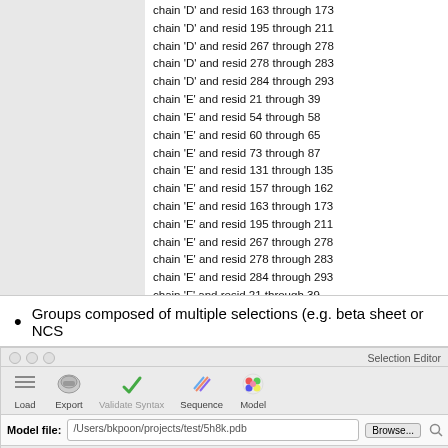chain 'D' and resid 163 through 173
chain 'D' and resid 195 through 211
chain 'D' and resid 267 through 278
chain 'D' and resid 278 through 283
chain 'D' and resid 284 through 293
chain 'E' and resid 21 through 39
chain 'E' and resid 54 through 58
chain 'E' and resid 60 through 65
chain 'E' and resid 73 through 87
chain 'E' and resid 131 through 135
chain 'E' and resid 157 through 162
chain 'E' and resid 163 through 173
chain 'E' and resid 195 through 211
chain 'E' and resid 267 through 278
chain 'E' and resid 278 through 283
chain 'E' and resid 284 through 293
chain 'F' and resid 21 through 39
chain 'F' and resid 54 through 58
chain 'F' and resid 60 through 65
Groups composed of multiple selections (e.g. beta sheet or NCS
[Figure (screenshot): Selection Editor dialog showing Model file path /Users/bkpoon/projects/test/5h8k.pdb with tabs for Custom Geometry Restraints, Refinement Strategy, Secondary Structure. Sub-tabs: Helices, Beta Sheets (active), Base Pairs, Stacking Pairs. Content area shows Find Secondary Structures button, Add Sheet, Delete Sheet buttons, and a table with columns ID, Selection, Sense. Row AA1 shows chain 'A' and resid 43 through 45, chain 'A' and resid 8 through 15 with 'parallel' sense.]